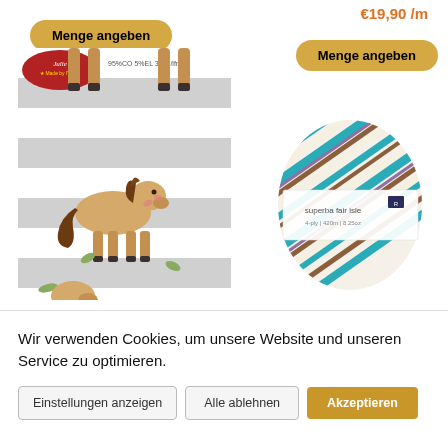[Figure (other): Button: Menge angeben (golden/tan rounded button, left product column)]
€19,90 /m
[Figure (other): Button: Menge angeben (golden/tan rounded button, right product column)]
[Figure (photo): Product image of fabric with pony/horse pattern on grey and white stripes, with 'Julie Made by IVG' label and text '95%CO 5%EL 300g/lfm']
[Figure (photo): Product image of a multicolored yarn ball labeled 'superba fair isle']
Wir verwenden Cookies, um unsere Website und unseren Service zu optimieren.
[Figure (other): Button: Einstellungen anzeigen (light grey outlined button)]
[Figure (other): Button: Alle ablehnen (light grey outlined button)]
[Figure (other): Button: Akzeptieren (golden/amber filled button)]